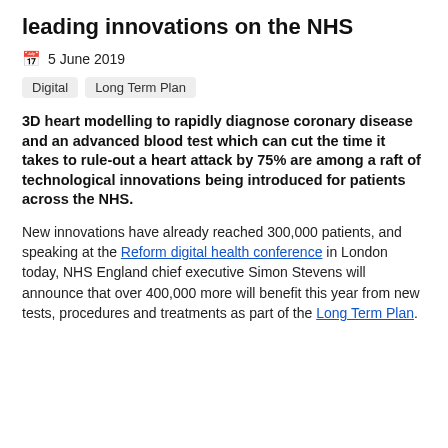leading innovations on the NHS
5 June 2019
Digital
Long Term Plan
3D heart modelling to rapidly diagnose coronary disease and an advanced blood test which can cut the time it takes to rule-out a heart attack by 75% are among a raft of technological innovations being introduced for patients across the NHS.
New innovations have already reached 300,000 patients, and speaking at the Reform digital health conference in London today, NHS England chief executive Simon Stevens will announce that over 400,000 more will benefit this year from new tests, procedures and treatments as part of the Long Term Plan.